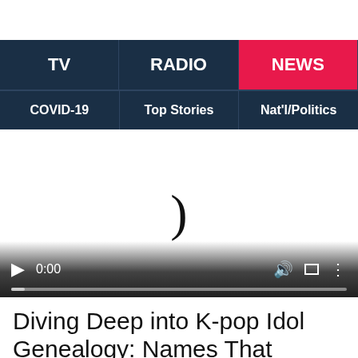TV | RADIO | NEWS
COVID-19 | Top Stories | Nat'l/Politics
[Figure (screenshot): Video player with loading spinner arc and controls showing 0:00 timestamp]
Diving Deep into K-pop Idol Genealogy: Names That